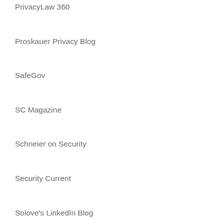PrivacyLaw 360
Proskauer Privacy Blog
SafeGov
SC Magazine
Schneier on Security
Security Current
Solove's LinkedIn Blog
State PIRG Summary of State Data Security Laws
The Health Care Blog